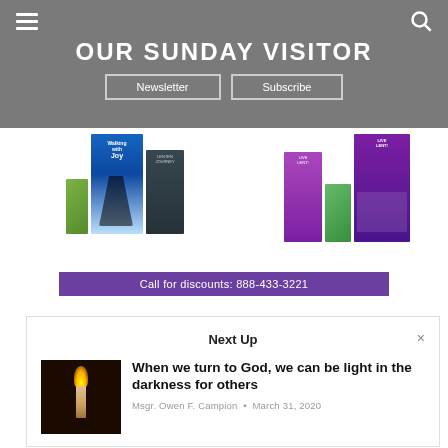OUR SUNDAY VISITOR
Newsletter | Subscribe
[Figure (photo): Advertisement showing religious books/pamphlets with a purple banner reading 'Call for discounts: 888-433-3221']
Next Up
[Figure (photo): Photo of a lit candle in darkness]
When we turn to God, we can be light in the darkness for others
Msgr. Owen F. Campion • March 31, 2020